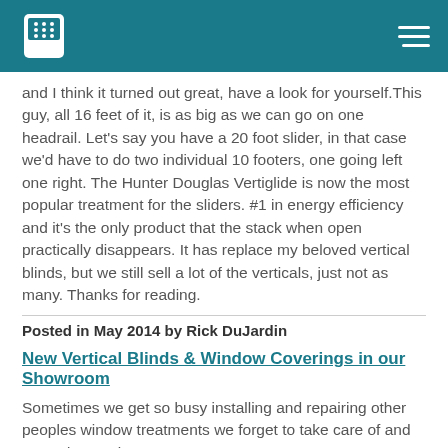Phone icon and navigation menu
and I think it turned out great, have a look for yourself.This guy, all 16 feet of it, is as big as we can go on one headrail. Let's say you have a 20 foot slider, in that case we'd have to do two individual 10 footers, one going left one right. The Hunter Douglas Vertiglide is now the most popular treatment for the sliders. #1 in energy efficiency and it's the only product that the stack when open practically disappears. It has replace my beloved vertical blinds, but we still sell a lot of the verticals, just not as many. Thanks for reading.
Posted in May 2014 by Rick DuJardin
New Vertical Blinds & Window Coverings in our Showroom
Sometimes we get so busy installing and repairing other peoples window treatments we forget to take care of and upgrade ours in